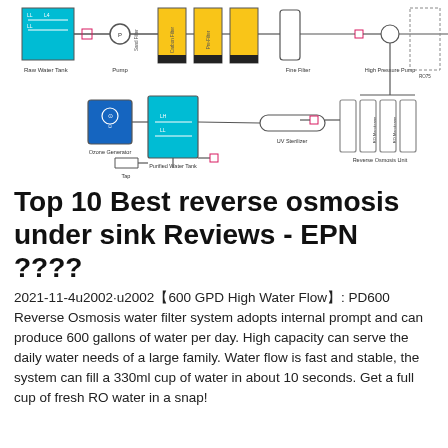[Figure (schematic): Water purification system schematic showing: Raw Water Tank, Pump, sand filter, carbon filter, pre-filter, Fine Filter, High Pressure Pump, UV Sterilizer, RO Membrane units (x4) labeled as Reverse Osmosis Unit, Ozone Generator, Purified Water Tank with level indicators, and Tap output. Components connected by flow lines.]
Top 10 Best reverse osmosis under sink Reviews - EPN ????
2021-11-4u2002·u2002【600 GPD High Water Flow】: PD600 Reverse Osmosis water filter system adopts internal prompt and can produce 600 gallons of water per day. High capacity can serve the daily water needs of a large family. Water flow is fast and stable, the system can fill a 330ml cup of water in about 10 seconds. Get a full cup of fresh RO water in a snap!